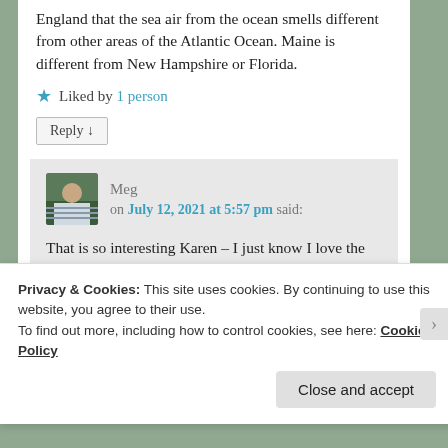England that the sea air from the ocean smells different from other areas of the Atlantic Ocean. Maine is different from New Hampshire or Florida.
★ Liked by 1 person
Reply ↓
Meg on July 12, 2021 at 5:57 pm said:
That is so interesting Karen – I just know I love the smell of the sea air in Maine!
Privacy & Cookies: This site uses cookies. By continuing to use this website, you agree to their use.
To find out more, including how to control cookies, see here: Cookie Policy